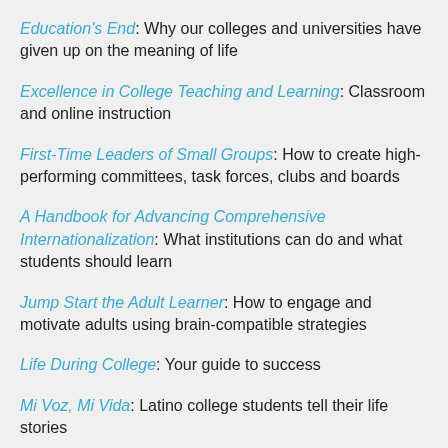Education's End: Why our colleges and universities have given up on the meaning of life
Excellence in College Teaching and Learning: Classroom and online instruction
First-Time Leaders of Small Groups: How to create high-performing committees, task forces, clubs and boards
A Handbook for Advancing Comprehensive Internationalization: What institutions can do and what students should learn
Jump Start the Adult Learner: How to engage and motivate adults using brain-compatible strategies
Life During College: Your guide to success
Mi Voz, Mi Vida: Latino college students tell their life stories